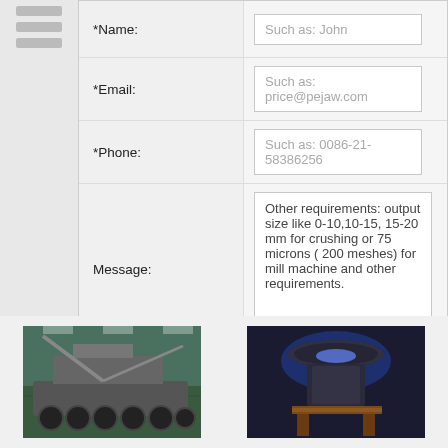*Name: Such as: John
*Email: Such as: price@pejaw.com
*Phone: Such as: 0086-21-58386256
Message: Other requirements: output size like 0-10,10-15, 15-20 mm for crushing or 75 microns ( 200 meshes) for mill machine and other requirements.
Submit
[Figure (photo): Industrial heavy machinery or crusher plant on flatbed trucks in a factory/warehouse setting]
265m s is a typical cruising
[Figure (photo): Industrial crusher machine with glowing blue light in a dark room, mounted on wooden table]
265m s is a typical cruising